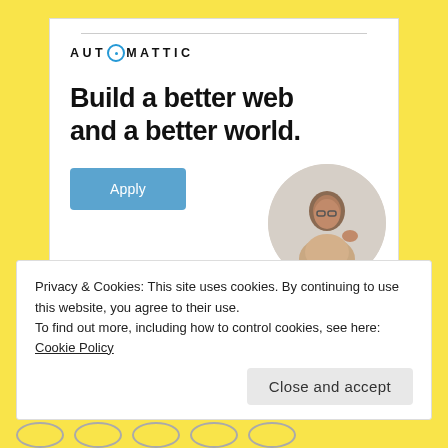[Figure (illustration): Automattic advertisement card with logo, headline 'Build a better web and a better world.', Apply button, and circular photo of a man thinking]
Privacy & Cookies: This site uses cookies. By continuing to use this website, you agree to their use.
To find out more, including how to control cookies, see here: Cookie Policy
Close and accept